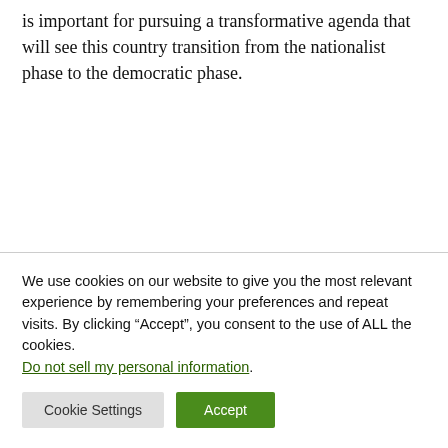is important for pursuing a transformative agenda that will see this country transition from the nationalist phase to the democratic phase.
We use cookies on our website to give you the most relevant experience by remembering your preferences and repeat visits. By clicking “Accept”, you consent to the use of ALL the cookies. Do not sell my personal information.